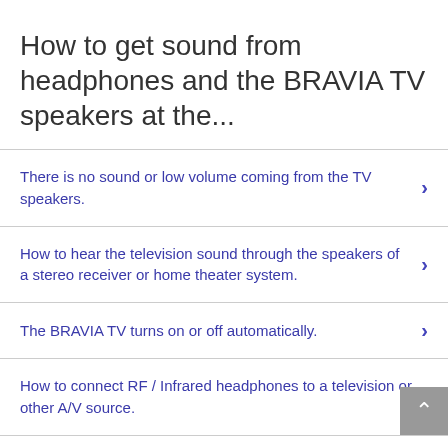How to get sound from headphones and the BRAVIA TV speakers at the...
There is no sound or low volume coming from the TV speakers.
How to hear the television sound through the speakers of a stereo receiver or home theater system.
The BRAVIA TV turns on or off automatically.
How to connect RF / Infrared headphones to a television or other A/V source.
The TV does not output sound through the